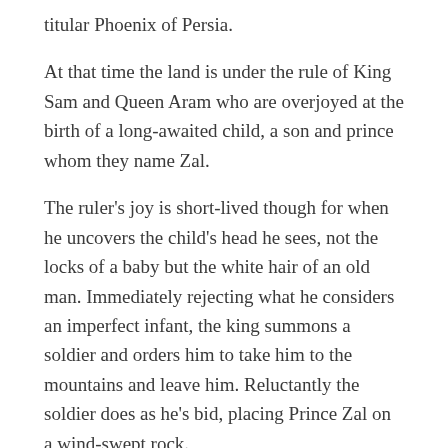titular Phoenix of Persia.
At that time the land is under the rule of King Sam and Queen Aram who are overjoyed at the birth of a long-awaited child, a son and prince whom they name Zal.
The ruler's joy is short-lived though for when he uncovers the child's head he sees, not the locks of a baby but the white hair of an old man. Immediately rejecting what he considers an imperfect infant, the king summons a soldier and orders him to take him to the mountains and leave him. Reluctantly the soldier does as he's bid, placing Prince Zal on a wind-swept rock.
The sobs of a hungry, distraught babe reverberate over the mountains and are heard by the Simorgh out hunting for food for her chicks. Resolving to care for